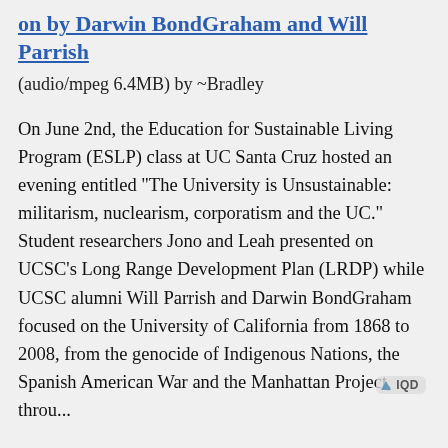on by Darwin BondGraham and Will Parrish
(audio/mpeg 6.4MB) by ~Bradley
On June 2nd, the Education for Sustainable Living Program (ESLP) class at UC Santa Cruz hosted an evening entitled "The University is Unsustainable: militarism, nuclearism, corporatism and the UC." Student researchers Jono and Leah presented on UCSC's Long Range Development Plan (LRDP) while UCSC alumni Will Parrish and Darwin BondGraham focused on the University of California from 1868 to 2008, from the genocide of Indigenous Nations, the Spanish American War and the Manhattan Project, throu...